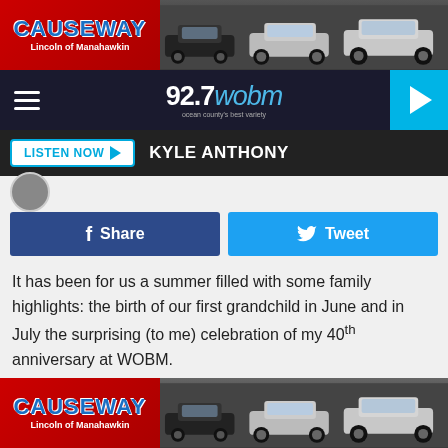[Figure (screenshot): Top advertisement banner for Causeway Lincoln of Manahawkin showing logo and cars]
92.7 wobm
LISTEN NOW  KYLE ANTHONY
Share  Tweet
It has been for us a summer filled with some family highlights: the birth of our first grandchild in June and in July the surprising (to me) celebration of my 40th anniversary at WOBM.
So needing something to close out August on Monday we gathered at my brother's condo in Seaside Park for what's
[Figure (photo): Bottom advertisement banner for Causeway Lincoln of Manahawkin showing logo and cars]